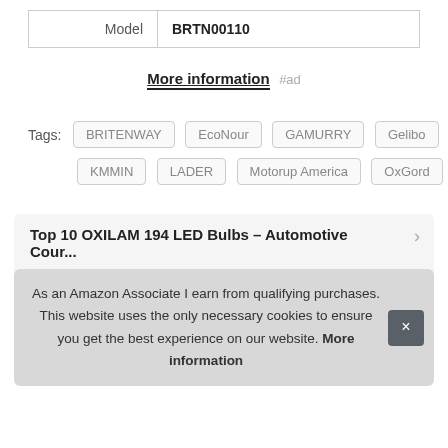| Model | BRTN00110 |
| --- | --- |
| Model | BRTN00110 |
More information #ad
Tags: BRITENWAY EcoNour GAMURRY Gelibo KMMIN LADER Motorup America OxGord
Top 10 OXILAM 194 LED Bulbs – Automotive Cour...
As an Amazon Associate I earn from qualifying purchases. This website uses the only necessary cookies to ensure you get the best experience on our website. More information